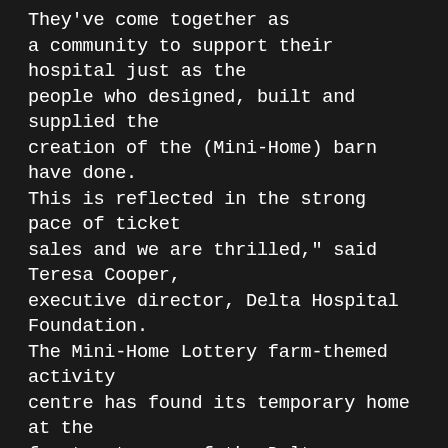They've come together as a community to support their hospital just as the people who designed, built and supplied the creation of the (Mini-Home) barn have done. This is reflected in the strong pace of ticket sales and we are thrilled," said Teresa Cooper, executive director, Delta Hospital Foundation. The Mini-Home Lottery farm-themed activity centre has found its temporary home at the front entrance of the Delta Hospital. It will also be available for viewing at the Ladner Village Market beginning Sunday, June 12, 2011 through to ticket sale sell-out.

Tickets are $5 and can be purchase by phone at